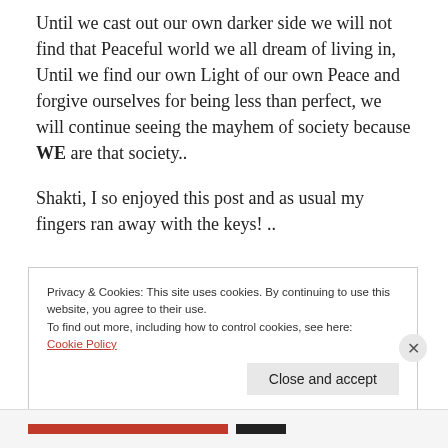Until we cast out our own darker side we will not find that Peaceful world we all dream of living in,
Until we find our own Light of our own Peace and forgive ourselves for being less than perfect, we will continue seeing the mayhem of society because WE are that society..
Shakti, I so enjoyed this post and as usual my fingers ran away with the keys! ..
Privacy & Cookies: This site uses cookies. By continuing to use this website, you agree to their use.
To find out more, including how to control cookies, see here:
Cookie Policy